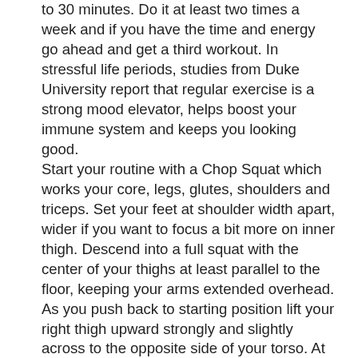to 30 minutes. Do it at least two times a week and if you have the time and energy go ahead and get a third workout. In stressful life periods, studies from Duke University report that regular exercise is a strong mood elevator, helps boost your immune system and keeps you looking good. Start your routine with a Chop Squat which works your core, legs, glutes, shoulders and triceps. Set your feet at shoulder width apart, wider if you want to focus a bit more on inner thigh. Descend into a full squat with the center of your thighs at least parallel to the floor, keeping your arms extended overhead. As you push back to starting position lift your right thigh upward strongly and slightly across to the opposite side of your torso. At the same time, drive your extended arms downward to the right. Place your right foot back on the ground, drop into another deep squat and as you rise up again, lift the left leg up and across your body forcefully driving your arms to the left side this time. That's one rep. Do 3 sets of 15 reps. Plank Twists are next. Support yourself on your forearms with your body in a push-up position and on your toes. Rocking on your toes, slightly twist first to the right and then to the left. That's one rep and you have 3 sets of ten. Follow them with